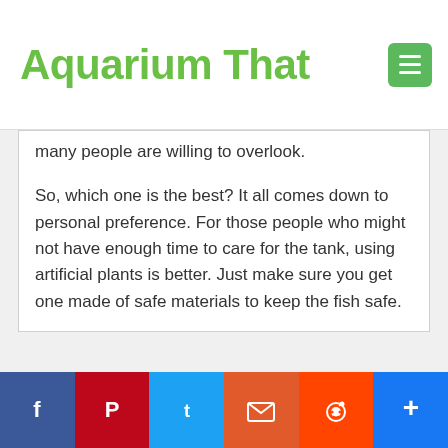Aquarium That
many people are willing to overlook.
So, which one is the best? It all comes down to personal preference. For those people who might not have enough time to care for the tank, using artificial plants is better. Just make sure you get one made of safe materials to keep the fish safe.
Live or Artificial ?
There is no right or wrong answer, which plants you choose are a matter of taste